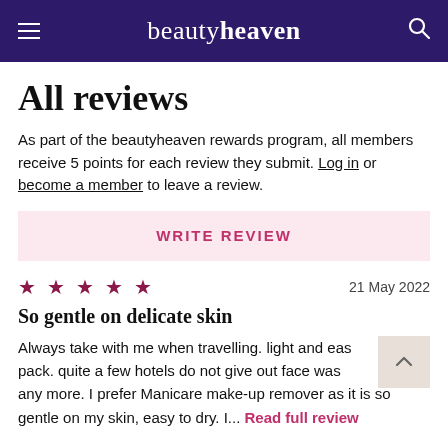beautyheaven
All reviews
As part of the beautyheaven rewards program, all members receive 5 points for each review they submit. Log in or become a member to leave a review.
WRITE REVIEW
★★★★★  21 May 2022
So gentle on delicate skin
Always take with me when travelling. light and easy to pack. quite a few hotels do not give out face washers any more. I prefer Manicare make-up remover as it is so gentle on my skin, easy to dry. I... Read full review